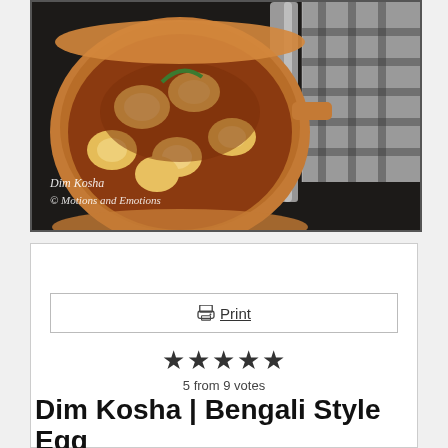[Figure (photo): Top-down photo of Dim Kosha (Bengali egg curry) in a copper bowl with silver spoon, plaid cloth in background. Watermark reads 'Dim Kosha © Motions and Emotions' in italic white text.]
Print
★★★★★
5 from 9 votes
Dim Kosha | Bengali Style Egg